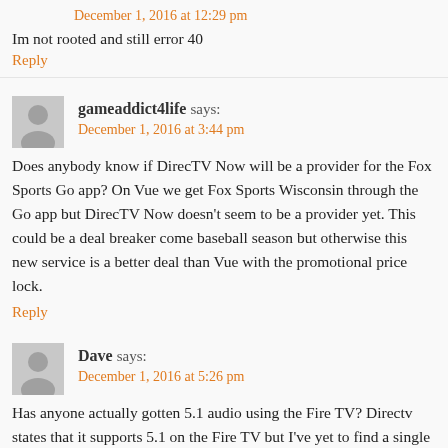December 1, 2016 at 12:29 pm
Im not rooted and still error 40
Reply
gameaddict4life says:
December 1, 2016 at 3:44 pm
Does anybody know if DirecTV Now will be a provider for the Fox Sports Go app? On Vue we get Fox Sports Wisconsin through the Go app but DirecTV Now doesn't seem to be a provider yet. This could be a deal breaker come baseball season but otherwise this new service is a better deal than Vue with the promotional price lock.
Reply
Dave says:
December 1, 2016 at 5:26 pm
Has anyone actually gotten 5.1 audio using the Fire TV? Directv states that it supports 5.1 on the Fire TV but I've yet to find a single channel with 5.1 audio. Stereo only.